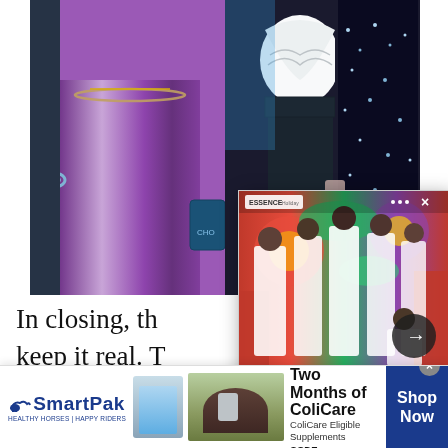[Figure (photo): Fashion photo showing women in colorful outfits including purple satin skirt with chain belt, dark skirt, and sparkly outfit, cropped at torso level]
[Figure (screenshot): Popup overlay card showing a group of Black women in white outfits standing in front of a colorful mural, with headline 'An All-Black Female CrewOperated A FlightFrom DallasTo Phoenix, And It Was...' and navigation arrow]
In closing, th[e women] keep it real. T[hey] hasn't really [taken] us out in our sweats on busy days and glammed up at special events. We just like to have fun!
[Figure (photo): SmartPak advertisement banner showing logo with horse icon, product image, horse and rider photo, text '50% Off Two Months of ColiCare, ColiCare Eligible Supplements, CODE: COLICARE10', and blue 'Shop Now' button]